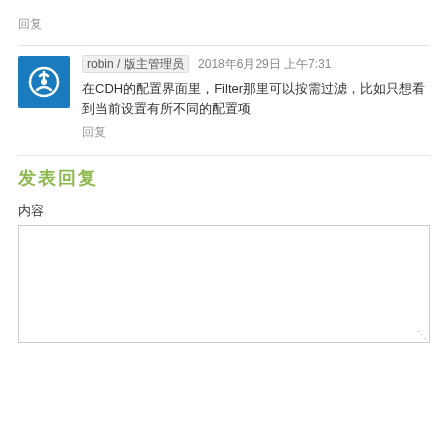回复
robin / 版主管理员  2018年6月29日 上午7:31
在CDH的配置界面里，Filter那里可以按需过滤，比如只想看到当前设置有所不同的配置项
回复
发表回复
内容